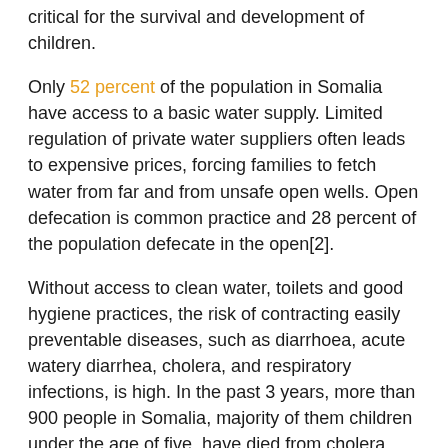critical for the survival and development of children.
Only 52 percent of the population in Somalia have access to a basic water supply. Limited regulation of private water suppliers often leads to expensive prices, forcing families to fetch water from far and from unsafe open wells. Open defecation is common practice and 28 percent of the population defecate in the open[2].
Without access to clean water, toilets and good hygiene practices, the risk of contracting easily preventable diseases, such as diarrhoea, acute watery diarrhea, cholera, and respiratory infections, is high. In the past 3 years, more than 900 people in Somalia, majority of them children under the age of five, have died from cholera.
When women are forced to give birth in these poor conditions the lives of mothers and babies are also at stake.